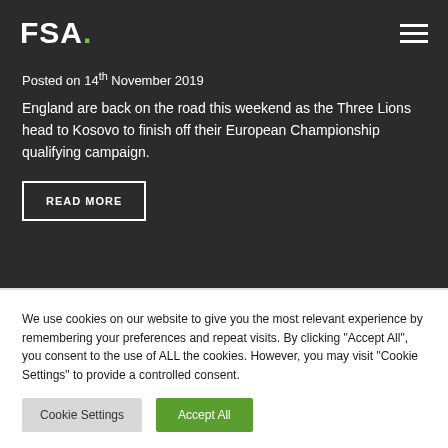FSA.
Posted on 14th November 2019
England are back on the road this weekend as the Three Lions head to Kosovo to finish off their European Championship qualifying campaign.
READ MORE
We use cookies on our website to give you the most relevant experience by remembering your preferences and repeat visits. By clicking "Accept All", you consent to the use of ALL the cookies. However, you may visit "Cookie Settings" to provide a controlled consent.
Cookie Settings
Accept All